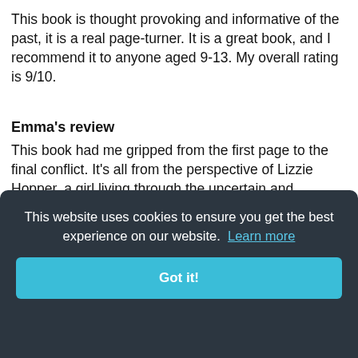This book is thought provoking and informative of the past, it is a real page-turner. It is a great book, and I recommend it to anyone aged 9-13. My overall rating is 9/10.
Emma's review
This book had me gripped from the first page to the final conflict. It's all from the perspective of Lizzie Hopper, a girl living through the uncertain and unpredictable times of 1666. The Plague has hit London but Lizzie had a burning desire to stay in The White Phoenix, a bookshop which was once her fathers.
...ons ...come [partial text obscured by cookie banner] ...anged several times ...on. I knew little about the 1600s before I read this book and I also know little about the horrific events that
This website uses cookies to ensure you get the best experience on our website. Learn more
Got it!